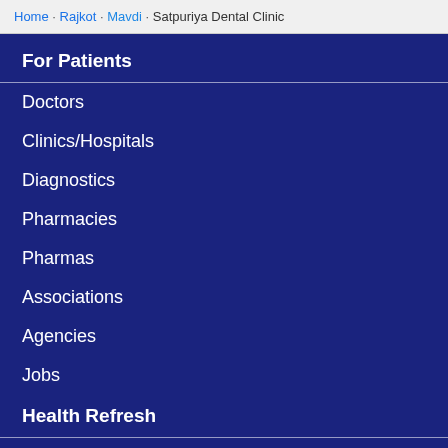Home · Rajkot · Mavdi · Satpuriya Dental Clinic
For Patients
Doctors
Clinics/Hospitals
Diagnostics
Pharmacies
Pharmas
Associations
Agencies
Jobs
Health Refresh
Health Articles
Food Facts